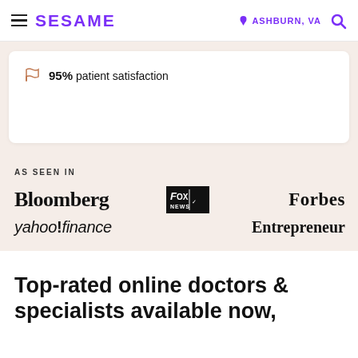SESAME | ASHBURN, VA
95% patient satisfaction
AS SEEN IN
[Figure (logo): Bloomberg logo (bold serif)]
[Figure (logo): Fox News logo (white text on black box)]
[Figure (logo): Forbes logo (serif)]
[Figure (logo): yahoo!finance logo (italic sans)]
[Figure (logo): Entrepreneur logo (serif bold)]
Top-rated online doctors & specialists available now,